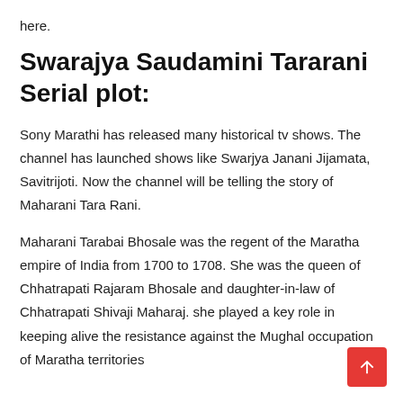here.
Swarajya Saudamini Tararani Serial plot:
Sony Marathi has released many historical tv shows. The channel has launched shows like Swarjya Janani Jijamata, Savitrijoti. Now the channel will be telling the story of Maharani Tara Rani.
Maharani Tarabai Bhosale was the regent of the Maratha empire of India from 1700 to 1708. She was the queen of Chhatrapati Rajaram Bhosale and daughter-in-law of Chhatrapati Shivaji Maharaj. she played a key role in keeping alive the resistance against the Mughal occupation of Maratha territories